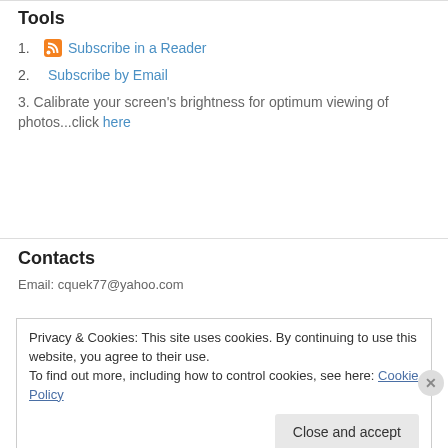Tools
1. Subscribe in a Reader
2. Subscribe by Email
3. Calibrate your screen's brightness for optimum viewing of photos...click here
Contacts
Email: cquek77@yahoo.com
Privacy & Cookies: This site uses cookies. By continuing to use this website, you agree to their use. To find out more, including how to control cookies, see here: Cookie Policy
Close and accept